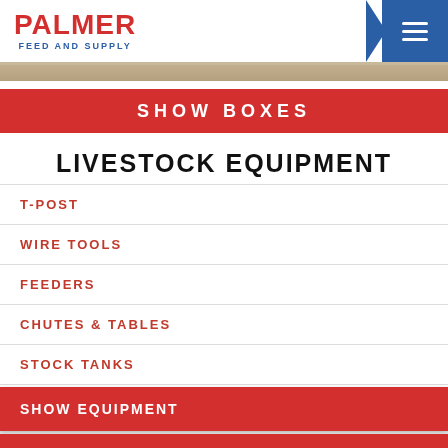PALMER FEED AND SUPPLY
SHOW BOXES
LIVESTOCK EQUIPMENT
T-POST
WIRE TOOLS
FEEDERS
CHUTES & TABLES
STOCK TANKS
SHOW EQUIPMENT